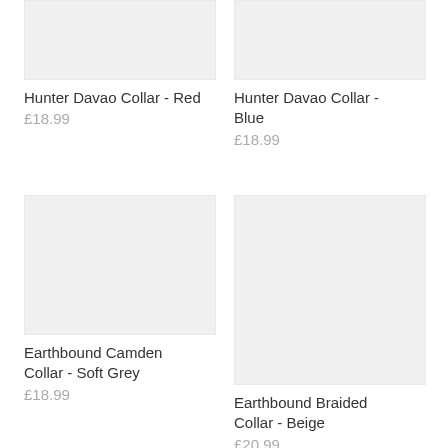[Figure (photo): Product image placeholder for Hunter Davao Collar - Red, light grey rectangle]
Hunter Davao Collar - Red
£18.99
[Figure (photo): Product image placeholder for Hunter Davao Collar - Blue, light grey rectangle]
Hunter Davao Collar - Blue
£18.99
[Figure (photo): Product image placeholder for Earthbound Camden Collar - Soft Grey, light grey rectangle]
Earthbound Camden Collar - Soft Grey
£18.99
[Figure (photo): Product image placeholder for Earthbound Braided Collar - Beige, light grey rectangle]
Earthbound Braided Collar - Beige
£20.99